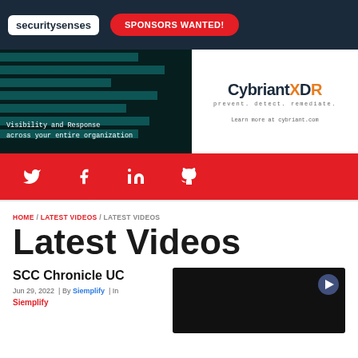securitysenses | SPONSORS WANTED!
[Figure (illustration): CybriantXDR advertisement banner: left side shows dark teal background with horizontal stripe pattern and text 'Visibility and Response across your entire organization' in monospace font; right side shows white background with CybriantXDR logo and 'prevent. detect. remediate.' tagline and 'Learn more at cybriant.com']
[Figure (infographic): Red social media bar with Twitter, Facebook, LinkedIn, and GitHub icons in white]
HOME / LATEST VIDEOS / LATEST VIDEOS
Latest Videos
SCC Chronicle UC
Jun 29, 2022 | By Siemplify | In
Siemplify